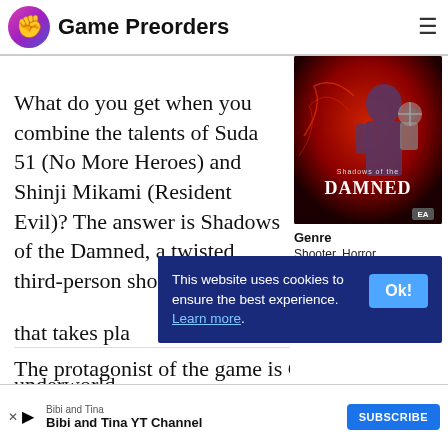Game Preorders
What do you get when you combine the talents of Suda 51 (No More Heroes) and Shinji Mikami (Resident Evil)? The answer is Shadows of the Damned, a twisted third-person shoot that takes pla underworld.
[Figure (photo): Game cover art for Shadows of the Damned showing a character in red tones with the game title text]
Genre
Shooter, Horror
Platform
This website uses cookies to ensure the best experience. Learn more. Ok!
No compatible source was found for this media.
The protagonist of the game is Garcia Hotspur...
Bibi and Tina
Bibi and Tina YT Channel
SUBSCRIBE